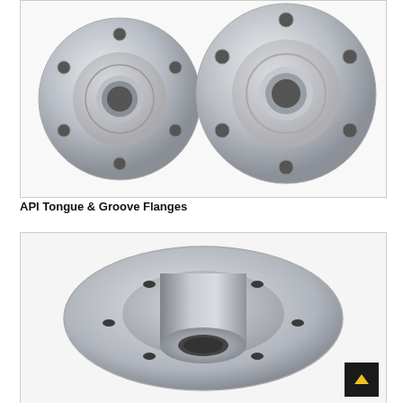[Figure (photo): Two stainless steel API Tongue and Groove flanges shown from a top-front angle. Both are circular disc-shaped flanges with bolt holes around the perimeter and a central bore. The left flange is smaller and the right one is slightly larger and thicker.]
API Tongue & Groove Flanges
[Figure (photo): Close-up photograph of a stainless steel weld neck flange shown at an angle, revealing the raised neck/hub, the circular flange face with bolt holes, and the bore opening. The surface is polished and metallic.]